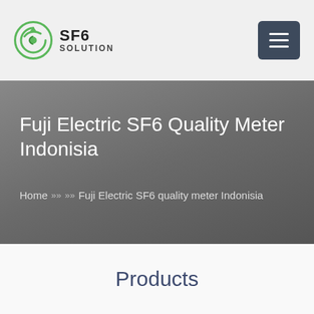SF6 SOLUTION
Fuji Electric SF6 Quality Meter Indonisia
Home » » Fuji Electric SF6 quality meter Indonisia
Products